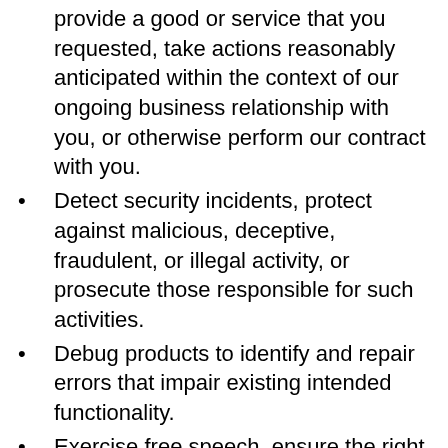provide a good or service that you requested, take actions reasonably anticipated within the context of our ongoing business relationship with you, or otherwise perform our contract with you.
Detect security incidents, protect against malicious, deceptive, fraudulent, or illegal activity, or prosecute those responsible for such activities.
Debug products to identify and repair errors that impair existing intended functionality.
Exercise free speech, ensure the right of another consumer to exercise their free speech rights, or exercise another right provided for by law.
Comply with the California Electronic Communications Privacy Act (Cal. Penal